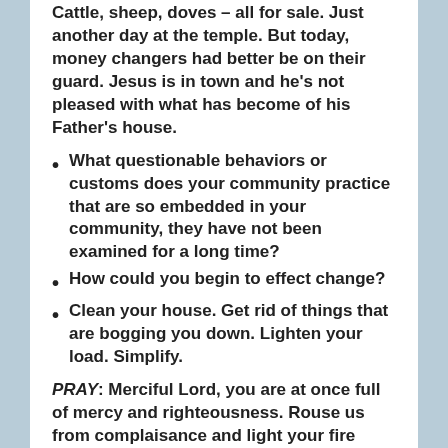Cattle, sheep, doves – all for sale. Just another day at the temple. But today, money changers had better be on their guard. Jesus is in town and he's not pleased with what has become of his Father's house.
What questionable behaviors or customs does your community practice that are so embedded in your community, they have not been examined for a long time?
How could you begin to effect change?
Clean your house. Get rid of things that are bogging you down. Lighten your load. Simplify.
PRAY: Merciful Lord, you are at once full of mercy and righteousness. Rouse us from complaisance and light your fire within us again,